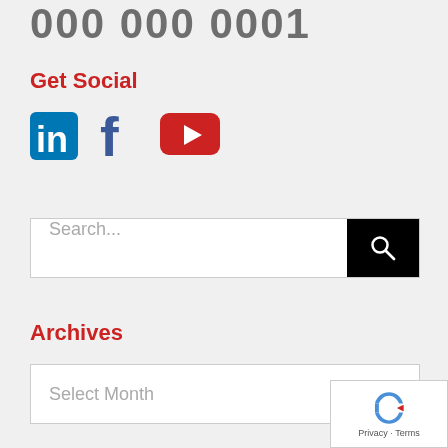000 000 0001
Get Social
[Figure (illustration): Three social media icons: LinkedIn (blue 'in' logo), Facebook (dark blue 'f' logo), YouTube (red rounded rectangle with white play triangle)]
[Figure (screenshot): Search bar with placeholder text 'Search...' and a black search button with magnifying glass icon]
Archives
[Figure (screenshot): Dropdown select box with placeholder text 'Select Month' and a chevron down indicator]
[Figure (illustration): reCAPTCHA badge in bottom right corner with logo and 'Privacy - Terms' text]